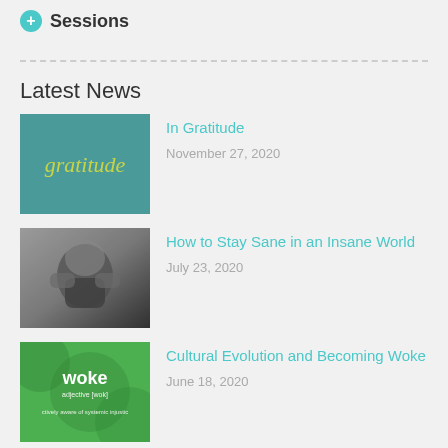Sessions
Latest News
[Figure (illustration): Teal/green background image with yellow cursive text 'gratitude']
In Gratitude
November 27, 2020
[Figure (photo): Black and white photo of a person with head in hands]
How to Stay Sane in an Insane World
July 23, 2020
[Figure (illustration): Green background with text 'woke adjective [wok] actively aware of systemic injustice']
Cultural Evolution and Becoming Woke
June 18, 2020